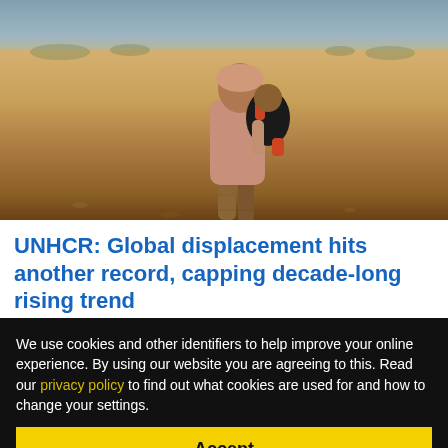[Figure (photo): A woman carrying a child on her back walks through a dry, arid landscape with sparse vegetation and a hazy sky in the background. The scene suggests displacement or migration in a drought-affected region.]
UNHCR: Global displacement hits another record, capping decade-long rising trend
Despite some signs of progress, the speed and scale of
We use cookies and other identifiers to help improve your online experience. By using our website you are agreeing to this. Read our privacy policy to find out what cookies are used for and how to change your settings.
Accept